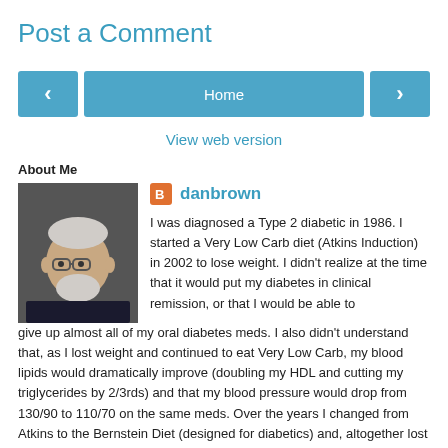Post a Comment
[Figure (infographic): Navigation bar with left arrow button, Home button, and right arrow button]
View web version
About Me
[Figure (photo): Profile photo of an older man with white hair and beard wearing a dark shirt]
danbrown
I was diagnosed a Type 2 diabetic in 1986. I started a Very Low Carb diet (Atkins Induction) in 2002 to lose weight. I didn't realize at the time that it would put my diabetes in clinical remission, or that I would be able to give up almost all of my oral diabetes meds. I also didn't understand that, as I lost weight and continued to eat Very Low Carb, my blood lipids would dramatically improve (doubling my HDL and cutting my triglycerides by 2/3rds) and that my blood pressure would drop from 130/90 to 110/70 on the same meds. Over the years I changed from Atkins to the Bernstein Diet (designed for diabetics) and, altogether lost 170 pounds. I later regained some and then lost some. As long as I eat Very Low Carb, I am not hungry and I have lots of energy